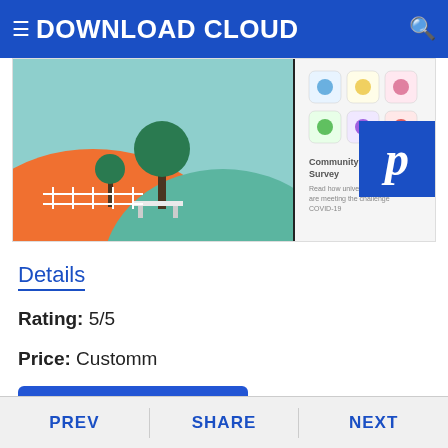DOWNLOAD CLOUD
[Figure (screenshot): App preview screenshot showing a colorful illustration with trees and a mobile app grid interface, and a 'Community Survey – Read how universities are meeting the challenge COVID-19' panel, with a Pinterest-style blue badge overlay.]
Details
Rating: 5/5
Price: Customm
DOWNLOAD
13. ClassSend
PREV  SHARE  NEXT